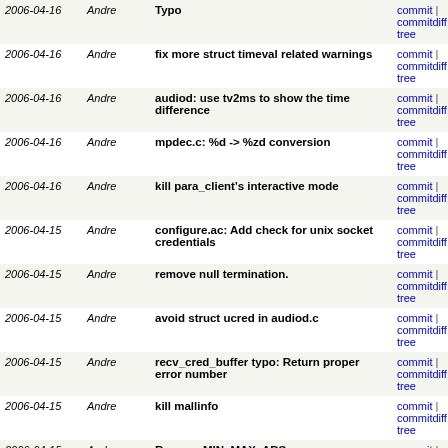| Date | Author | Commit message | Links |
| --- | --- | --- | --- |
| 2006-04-16 | Andre | Typo | commit | commitdiff | tree |
| 2006-04-16 | Andre | fix more struct timeval related warnings | commit | commitdiff | tree |
| 2006-04-16 | Andre | audiod: use tv2ms to show the time difference | commit | commitdiff | tree |
| 2006-04-16 | Andre | mpdec.c: %d -> %zd conversion | commit | commitdiff | tree |
| 2006-04-16 | Andre | kill para_client's interactive mode | commit | commitdiff | tree |
| 2006-04-15 | Andre | configure.ac: Add check for unix socket credentials | commit | commitdiff | tree |
| 2006-04-15 | Andre | remove null termination. | commit | commitdiff | tree |
| 2006-04-15 | Andre | avoid struct ucred in audiod.c | commit | commitdiff | tree |
| 2006-04-15 | Andre | recv_cred_buffer typo: Return proper error number | commit | commitdiff | tree |
| 2006-04-15 | Andre | kill mallinfo | commit | commitdiff | tree |
| 2006-04-15 | Andre | Rename MIN, MAX, ABS macros | commit | commitdiff | tree |
| 2006-04-15 | Andre | gcc-compat.h: rename __unused to __a_unused | commit | commitdiff | tree |
| 2006-04-15 | Andre | gcc-compat: Kill __pure | commit | commitdiff | tree |